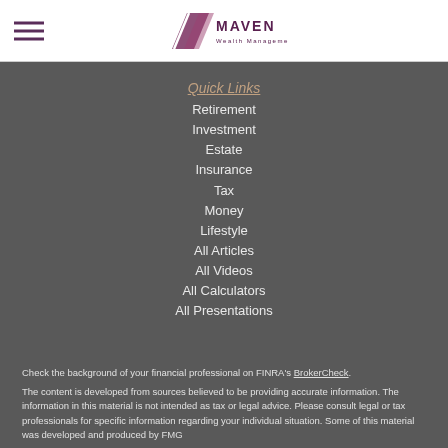Maven Wealth Management
Quick Links
Retirement
Investment
Estate
Insurance
Tax
Money
Lifestyle
All Articles
All Videos
All Calculators
All Presentations
Check the background of your financial professional on FINRA's BrokerCheck.
The content is developed from sources believed to be providing accurate information. The information in this material is not intended as tax or legal advice. Please consult legal or tax professionals for specific information regarding your individual situation. Some of this material was developed and produced by FMG